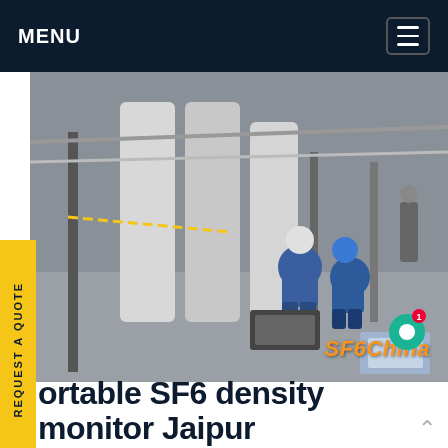MENU
[Figure (photo): Two workers in blue coveralls and hard hats crouching over equipment on an industrial facility floor, with large cylindrical tanks and metal infrastructure in the background. SF6China watermark visible.]
Portable SF6 density monitor Jaipur
3,025 SF6 Density Monitor results from 537 Manufacturers. Verified Manufacturers Accepts Sample Orders These products are in stock and